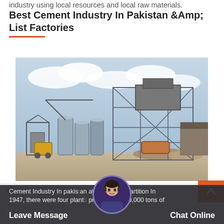industry using local resources and local raw materials.
Best Cement Industry In Pakistan &Amp; List Factories
[Figure (photo): Industrial cement factory under construction showing large steel framework structures, cylindrical silos, and heavy equipment on a dirt ground with cloudy sky background.]
Best Cement Industry In Pakistan &Amp; List Factories
Cement Industry In pakistan at the time of partition In 1947, there were four plants producing 5, 30,000 tons of